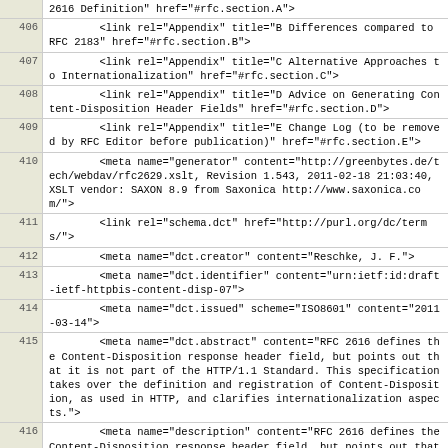| line | code |
| --- | --- |
|  | 2616 Definition" href="#rfc.section.A"> |
| 406 |         <link rel="Appendix" title="B Differences compared to RFC 2183" href="#rfc.section.B"> |
| 407 |         <link rel="Appendix" title="C Alternative Approaches to Internationalization" href="#rfc.section.C"> |
| 408 |         <link rel="Appendix" title="D Advice on Generating Content-Disposition Header Fields" href="#rfc.section.D"> |
| 409 |         <link rel="Appendix" title="E Change Log (to be removed by RFC Editor before publication)" href="#rfc.section.E"> |
| 410 |         <meta name="generator" content="http://greenbytes.de/tech/webdav/rfc2629.xslt, Revision 1.543, 2011-02-18 21:03:40, XSLT vendor: SAXON 8.9 from Saxonica http://www.saxonica.com/"> |
| 411 |         <link rel="schema.dct" href="http://purl.org/dc/terms/"> |
| 412 |         <meta name="dct.creator" content="Reschke, J. F."> |
| 413 |         <meta name="dct.identifier" content="urn:ietf:id:draft-ietf-httpbis-content-disp-07"> |
| 414 |         <meta name="dct.issued" scheme="ISO8601" content="2011-03-14"> |
| 415 |         <meta name="dct.abstract" content="RFC 2616 defines the Content-Disposition response header field, but points out that it is not part of the HTTP/1.1 Standard. This specification takes over the definition and registration of Content-Disposition, as used in HTTP, and clarifies internationalization aspects."> |
| 416 |         <meta name="description" content="RFC 2616 defines the Content-Disposition response header field, but points out that it is not part of the HTTP/1.1 Standard. This specification takes over the definition and registration of Content-Disposition, as used in HTTP, and clarifies internationalization aspects."> |